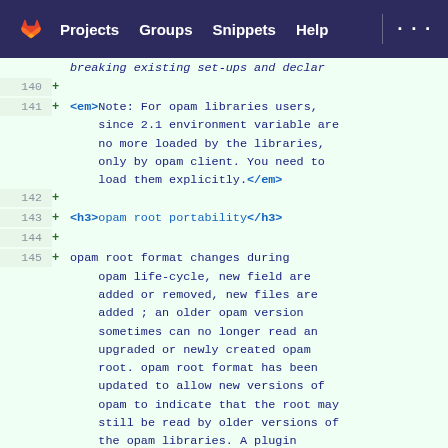Projects  Groups  Snippets  Help  ...
140 +
141 + <em>Note: For opam libraries users, since 2.1 environment variable are no more loaded by the libraries, only by opam client. You need to load them explicitly.</em>
142 +
143 + <h3>opam root portability</h3>
144 +
145 + opam root format changes during opam life-cycle, new field are added or removed, new files are added ; an older opam version sometimes can no longer read an upgraded or newly created opam root. opam root format has been updated to allow new versions of opam to indicate that the root may still be read by older versions of the opam libraries. A plugin